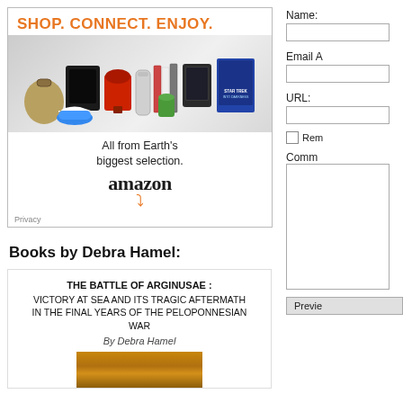[Figure (advertisement): Amazon advertisement banner with orange text 'SHOP. CONNECT. ENJOY.' and product images (handbag, shoes, electronics, kitchen appliances, tablets, books, Blu-ray). Text: 'All from Earth's biggest selection.' with Amazon logo and orange arrow smile. Privacy link at bottom left.]
Books by Debra Hamel:
THE BATTLE OF ARGINUSAE : VICTORY AT SEA AND ITS TRAGIC AFTERMATH IN THE FINAL YEARS OF THE PELOPONNESIAN WAR
By Debra Hamel
[Figure (illustration): Book cover showing orange/brown textured design at bottom of card]
Name:
Email A
URL:
Rem
Comm